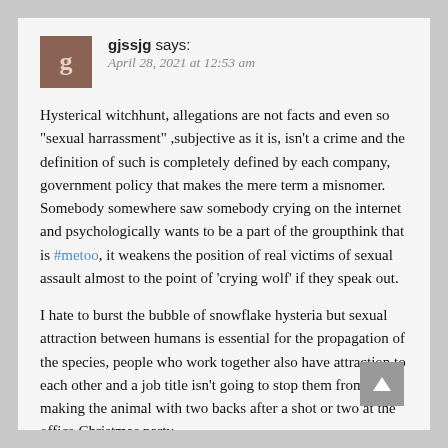gjssjg says: April 28, 2021 at 12:53 am
Hysterical witchhunt, allegations are not facts and even so "sexual harrassment" ,subjective as it is, isn't a crime and the definition of such is completely defined by each company, government policy that makes the mere term a misnomer. Somebody somewhere saw somebody crying on the internet and psychologically wants to be a part of the groupthink that is #metoo, it weakens the position of real victims of sexual assault almost to the point of 'crying wolf' if they speak out.
I hate to burst the bubble of snowflake hysteria but sexual attraction between humans is essential for the propagation of the species, people who work together also have attraction to each other and a job title isn't going to stop them from making the animal with two backs after a shot or two at the office Christmas party